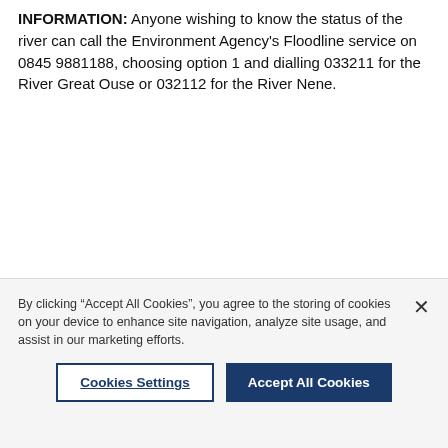INFORMATION: Anyone wishing to know the status of the river can call the Environment Agency's Floodline service on 0845 9881188, choosing option 1 and dialling 033211 for the River Great Ouse or 032112 for the River Nene.
By clicking “Accept All Cookies”, you agree to the storing of cookies on your device to enhance site navigation, analyze site usage, and assist in our marketing efforts.